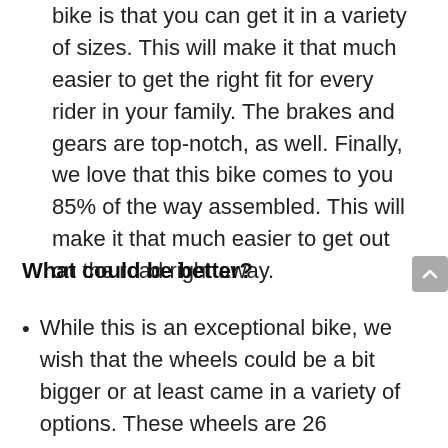bike is that you can get it in a variety of sizes. This will make it that much easier to get the right fit for every rider in your family. The brakes and gears are top-notch, as well. Finally, we love that this bike comes to you 85% of the way assembled. This will make it that much easier to get out on the road right away.
What could be better?
While this is an exceptional bike, we wish that the wheels could be a bit bigger or at least came in a variety of options. These wheels are 26